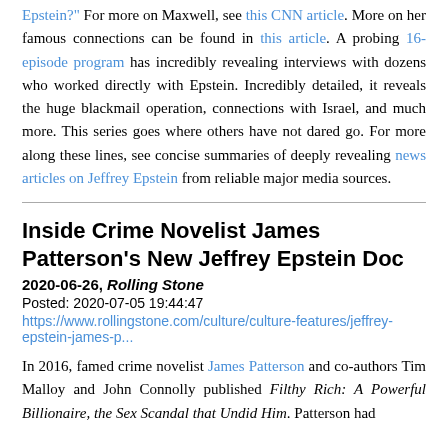Epstein?" For more on Maxwell, see this CNN article. More on her famous connections can be found in this article. A probing 16-episode program has incredibly revealing interviews with dozens who worked directly with Epstein. Incredibly detailed, it reveals the huge blackmail operation, connections with Israel, and much more. This series goes where others have not dared go. For more along these lines, see concise summaries of deeply revealing news articles on Jeffrey Epstein from reliable major media sources.
Inside Crime Novelist James Patterson’s New Jeffrey Epstein Doc
2020-06-26, Rolling Stone
Posted: 2020-07-05 19:44:47
https://www.rollingstone.com/culture/culture-features/jeffrey-epstein-james-p...
In 2016, famed crime novelist James Patterson and co-authors Tim Malloy and John Connolly published Filthy Rich: A Powerful Billionaire, the Sex Scandal that Undid Him. Patterson had